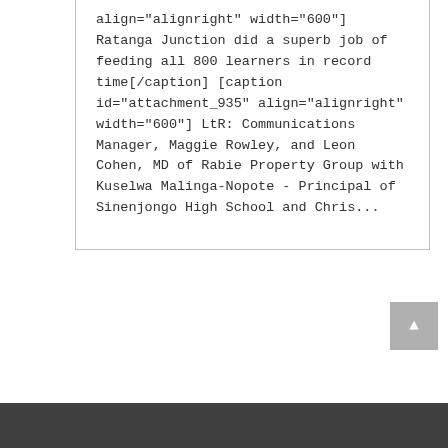align="alignright" width="600"] Ratanga Junction did a superb job of feeding all 800 learners in record time[/caption] [caption id="attachment_935" align="alignright" width="600"] LtR: Communications Manager, Maggie Rowley, and Leon Cohen, MD of Rabie Property Group with Kuselwa Malinga-Nopote - Principal of Sinenjongo High School and Chris...